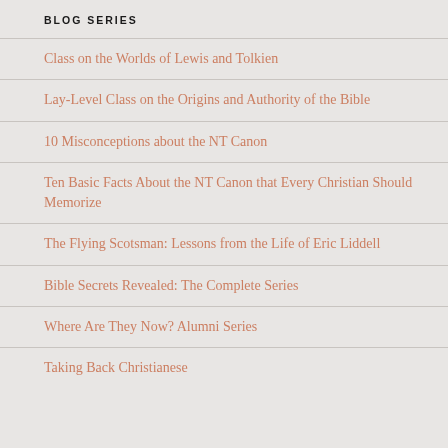BLOG SERIES
Class on the Worlds of Lewis and Tolkien
Lay-Level Class on the Origins and Authority of the Bible
10 Misconceptions about the NT Canon
Ten Basic Facts About the NT Canon that Every Christian Should Memorize
The Flying Scotsman: Lessons from the Life of Eric Liddell
Bible Secrets Revealed: The Complete Series
Where Are They Now? Alumni Series
Taking Back Christianese